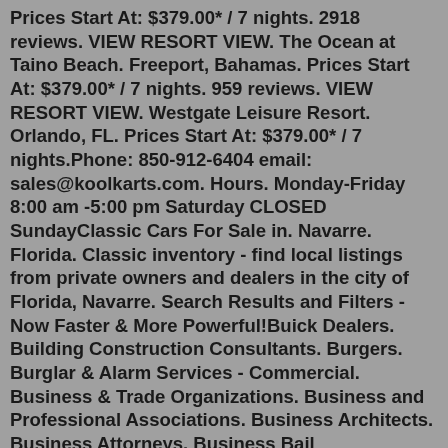Prices Start At: $379.00* / 7 nights. 2918 reviews. VIEW RESORT VIEW. The Ocean at Taino Beach. Freeport, Bahamas. Prices Start At: $379.00* / 7 nights. 959 reviews. VIEW RESORT VIEW. Westgate Leisure Resort. Orlando, FL. Prices Start At: $379.00* / 7 nights.Phone: 850-912-6404 email: sales@koolkarts.com. Hours. Monday-Friday 8:00 am -5:00 pm Saturday CLOSED SundayClassic Cars For Sale in. Navarre. Florida. Classic inventory - find local listings from private owners and dealers in the city of Florida, Navarre. Search Results and Filters - Now Faster & More Powerful!Buick Dealers. Building Construction Consultants. Burgers. Burglar & Alarm Services - Commercial. Business & Trade Organizations. Business and Professional Associations. Business Architects. Business Attorneys. Business Bail Bonds.Finally, the fun part: Take any Chrysler, Dodge, Jeep, or RAM model you'd like out for a test drive! It's always a good idea to make an appointment so we can make sure to have your